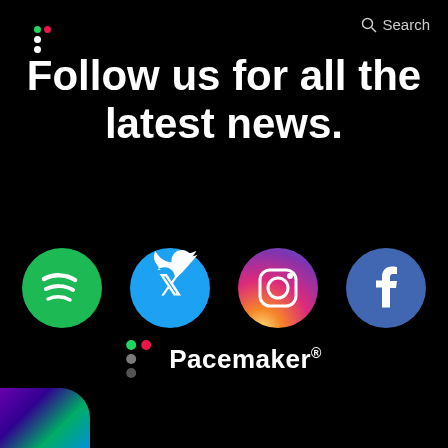[Figure (logo): Pacemaker app logo: colored dots arranged in a pattern (green, red, white) in top left corner]
Search
Follow us for all the latest news.
[Figure (illustration): Four social media icons in circles: Spotify (green), Twitter (blue), Instagram (pink/red), Facebook (blue)]
[Figure (logo): Pacemaker brand logo at bottom: colored dots (green, red, white) with Pacemaker text]